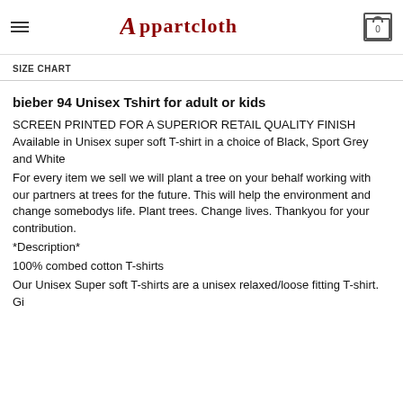Appartcloth
SIZE CHART
bieber 94 Unisex Tshirt for adult or kids
SCREEN PRINTED FOR A SUPERIOR RETAIL QUALITY FINISH
Available in Unisex super soft T-shirt in a choice of Black, Sport Grey and White
For every item we sell we will plant a tree on your behalf working with our partners at trees for the future. This will help the environment and change somebodys life. Plant trees. Change lives. Thankyou for your contribution.
*Description*
100% combed cotton T-shirts
Our Unisex Super soft T-shirts are a unisex relaxed/loose fitting T-shirt. Size down to get that slim T-shirt